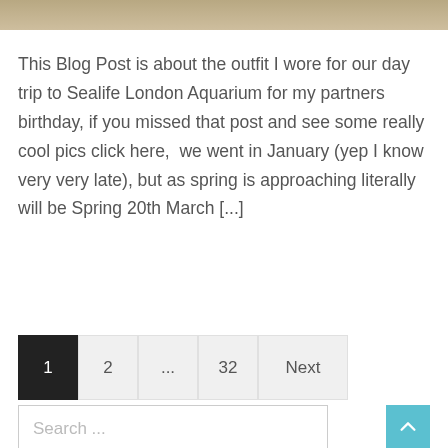[Figure (photo): Partial photo visible at top of page, showing a tiled floor or pavement surface in beige/tan tones.]
This Blog Post is about the outfit I wore for our day trip to Sealife London Aquarium for my partners birthday, if you missed that post and see some really cool pics click here,  we went in January (yep I know very very late), but as spring is approaching literally will be Spring 20th March [...]
1  2  ...  32  Next
Search ...